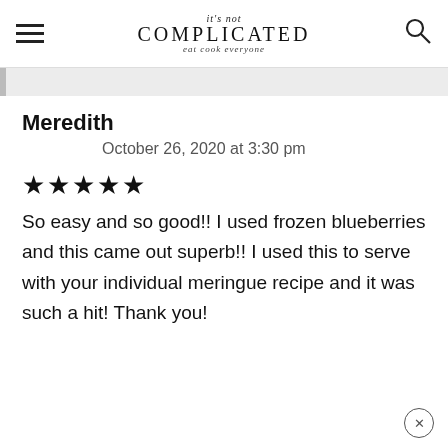It's not COMPLICATED | eat cook everyone
Meredith
October 26, 2020 at 3:30 pm
★★★★★
So easy and so good!! I used frozen blueberries and this came out superb!! I used this to serve with your individual meringue recipe and it was such a hit! Thank you!